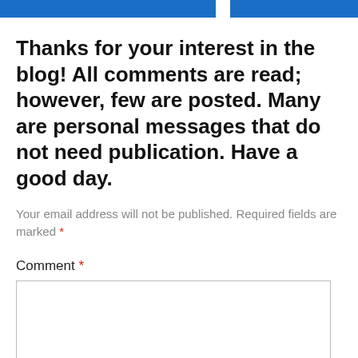[Figure (other): Two blue horizontal bars separated by a white gap at the top of the page]
Thanks for your interest in the blog! All comments are read; however, few are posted. Many are personal messages that do not need publication. Have a good day.
Your email address will not be published. Required fields are marked *
Comment *
[Figure (other): Empty comment text area input box]